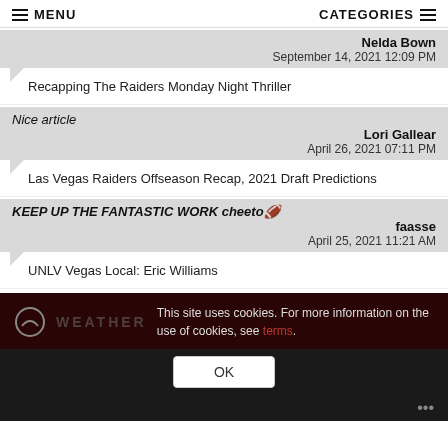MENU | CATEGORIES
Nelda Bown
September 14, 2021 12:09 PM
Recapping The Raiders Monday Night Thriller
Nice article
Lori Gallear
April 26, 2021 07:11 PM
Las Vegas Raiders Offseason Recap, 2021 Draft Predictions
KEEP UP THE FANTASTIC WORK cheeto🏈
faasse
April 25, 2021 11:21 AM
UNLV Vegas Local: Eric Williams
This site uses cookies. For more information on the use of cookies, see terms.
OK